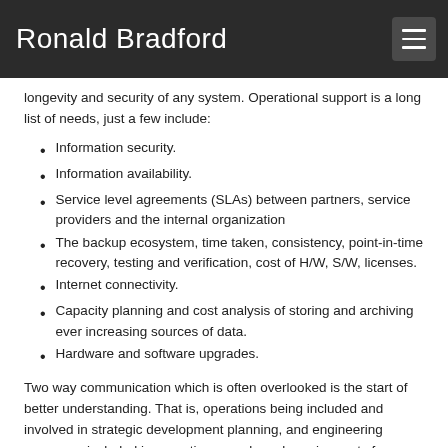Ronald Bradford
longevity and security of any system. Operational support is a long list of needs, just a few include:
Information security.
Information availability.
Service level agreements (SLAs) between partners, service providers and the internal organization
The backup ecosystem, time taken, consistency, point-in-time recovery, testing and verification, cost of H/W, S/W, licenses.
Internet connectivity.
Capacity planning and cost analysis of storing and archiving ever increasing sources of data.
Hardware and software upgrades.
Two way communication which is often overlooked is the start of better understanding. That is, operations being included and involved in strategic development planning, and engineering resources included in operations needs and requirements for ensuring those new product features operate for the benefit of